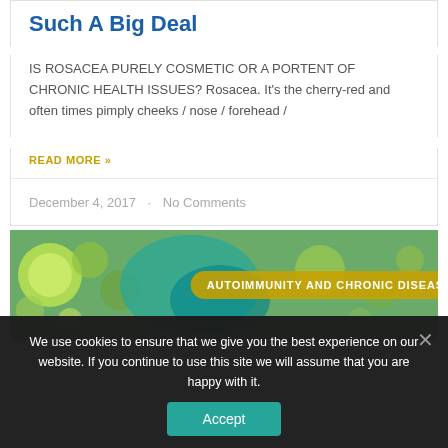Such A Big Deal
IS ROSACEA PURELY COSMETIC OR A PORTENT OF CHRONIC HEALTH ISSUES? Rosacea. It's the cherry-red and often times pimply cheeks / nose / forehead /
READ MORE »
December 4, 2017 · No Comments
[Figure (photo): Microscopic image of cells with overlay label reading AUTOIMMUNITY AND CHRONIC DISEASE]
We use cookies to ensure that we give you the best experience on our website. If you continue to use this site we will assume that you are happy with it.
Accept